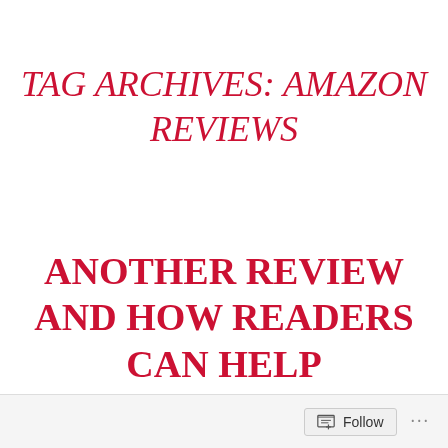TAG ARCHIVES: AMAZON REVIEWS
ANOTHER REVIEW AND HOW READERS CAN HELP
Follow